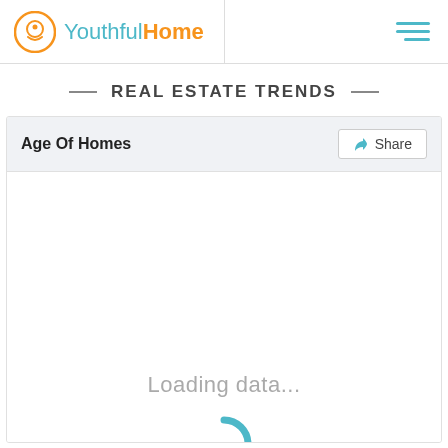YouthfulHome
REAL ESTATE TRENDS
Age Of Homes
Share
Loading data...